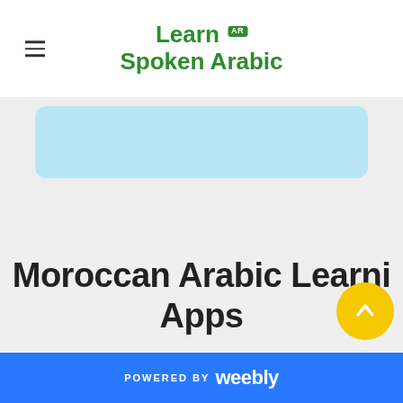Learn Spoken Arabic
[Figure (screenshot): Partial blue rounded card/box visible at top of content area]
Moroccan Arabic Learning Apps
POWERED BY weebly